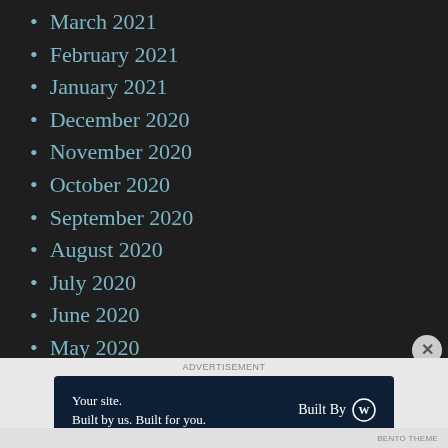March 2021
February 2021
January 2021
December 2020
November 2020
October 2020
September 2020
August 2020
July 2020
June 2020
May 2020
April 2020
March 2020
ADVERTISEMENT
Your site. Built by us. Built for you. Built By [WordPress logo]
BENTO THEME